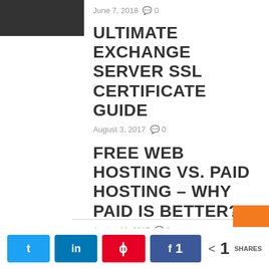June 7, 2018  0
ULTIMATE EXCHANGE SERVER SSL CERTIFICATE GUIDE
August 3, 2017  0
FREE WEB HOSTING VS. PAID HOSTING – WHY PAID IS BETTER?
August 11, 2017  0
< 1 SHARES